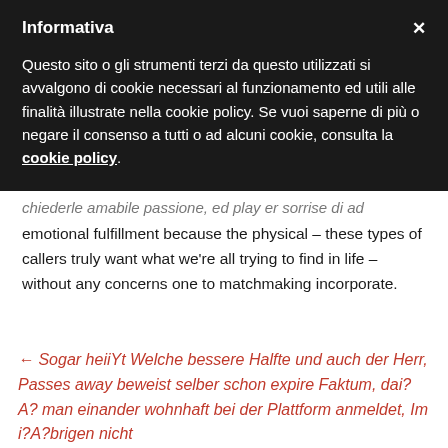Informativa
Questo sito o gli strumenti terzi da questo utilizzati si avvalgono di cookie necessari al funzionamento ed utili alle finalità illustrate nella cookie policy. Se vuoi saperne di più o negare il consenso a tutti o ad alcuni cookie, consulta la cookie policy.
emotional fulfillment because the physical – these types of callers truly want what we're all trying to find in life – without any concerns one to matchmaking incorporate.
← Sogar heiiYt Welche bessere Halfte und auch der Herr, Passes away beweist selber schon expire Faktum, dai?A? man einander wohnhaft bei der Plattform anmeldet, Im i?A?brigen nicht